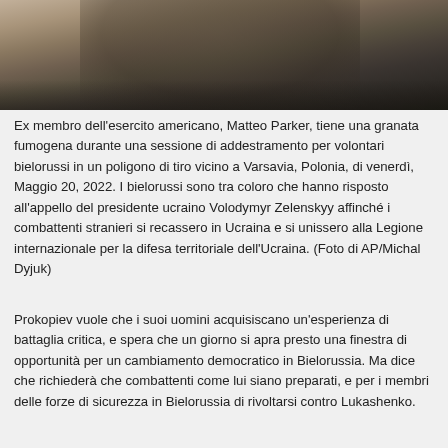[Figure (photo): Photo of ex US Army member Matteo Parker holding a smoke grenade during a training session for Belarusian volunteers near Warsaw, Poland]
Ex membro dell'esercito americano, Matteo Parker, tiene una granata fumogena durante una sessione di addestramento per volontari bielorussi in un poligono di tiro vicino a Varsavia, Polonia, di venerdì, Maggio 20, 2022. I bielorussi sono tra coloro che hanno risposto all'appello del presidente ucraino Volodymyr Zelenskyy affinché i combattenti stranieri si recassero in Ucraina e si unissero alla Legione internazionale per la difesa territoriale dell'Ucraina. (Foto di AP/Michal Dyjuk)
Prokopiev vuole che i suoi uomini acquisiscano un'esperienza di battaglia critica, e spera che un giorno si apra presto una finestra di opportunità per un cambiamento democratico in Bielorussia. Ma dice che richiederà che combattenti come lui siano preparati, e per i membri delle forze di sicurezza in Bielorussia di rivoltarsi contro Lukashenko.